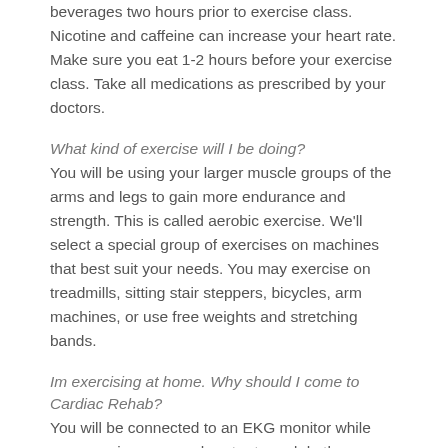beverages two hours prior to exercise class. Nicotine and caffeine can increase your heart rate. Make sure you eat 1-2 hours before your exercise class. Take all medications as prescribed by your doctors.
What kind of exercise will I be doing?
You will be using your larger muscle groups of the arms and legs to gain more endurance and strength. This is called aerobic exercise. We'll select a special group of exercises on machines that best suit your needs. You may exercise on treadmills, sitting stair steppers, bicycles, arm machines, or use free weights and stretching bands.
Im exercising at home. Why should I come to Cardiac Rehab?
You will be connected to an EKG monitor while you exercise, so your heart rate and rhythms are closely watched. Your blood pressure and workload are also